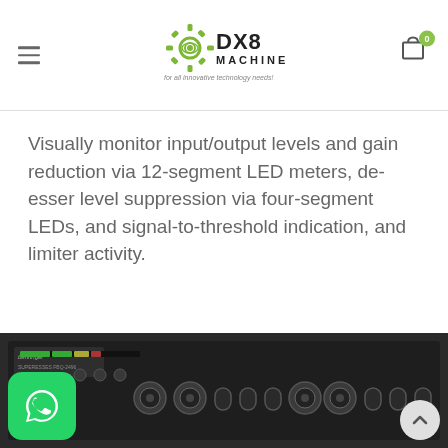DX8 MACHINE — For all innovative technology needs!
Visually monitor input/output levels and gain reduction via 12-segment LED meters, de-esser level suppression via four-segment LEDs, and signal-to-threshold indication, and limiter activity.
[Figure (photo): Photo of a Behringer rackmount audio processor unit showing front panel with XLR and TRS connectors, knobs and LED meters, photographed from an angle.]